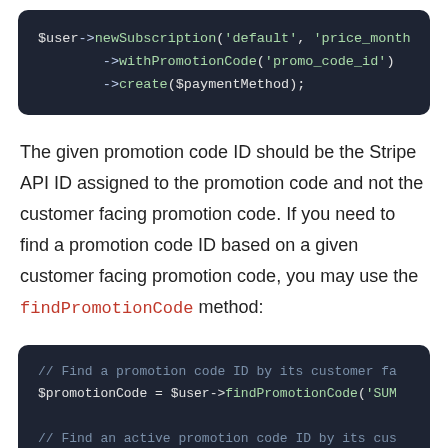[Figure (screenshot): Code block on dark background showing PHP: $user->newSubscription('default', 'price_month ->withPromotionCode('promo_code_id') ->create($paymentMethod);]
The given promotion code ID should be the Stripe API ID assigned to the promotion code and not the customer facing promotion code. If you need to find a promotion code ID based on a given customer facing promotion code, you may use the findPromotionCode method:
[Figure (screenshot): Code block on dark background showing PHP comments and code: // Find a promotion code ID by its customer fa... $promotionCode = $user->findPromotionCode('SUM... // Find an active promotion code ID by its cus... $promotionCode = $user->findActivePromotionCod...]